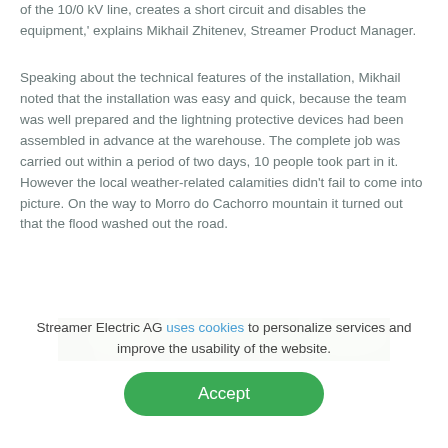of the 10/0 kV line, creates a short circuit and disables the equipment,' explains Mikhail Zhitenev, Streamer Product Manager.
Speaking about the technical features of the installation, Mikhail noted that the installation was easy and quick, because the team was well prepared and the lightning protective devices had been assembled in advance at the warehouse. The complete job was carried out within a period of two days, 10 people took part in it. However the local weather-related calamities didn't fail to come into picture. On the way to Morro do Cachorro mountain it turned out that the flood washed out the road.
[Figure (photo): Partial view of green treetops/foliage, top portion of a photograph visible at the bottom of the main content area]
Streamer Electric AG uses cookies to personalize services and improve the usability of the website.